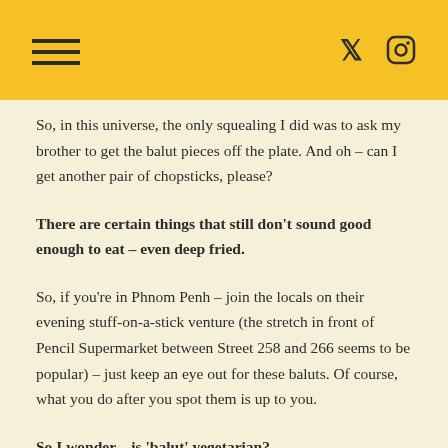So, in this universe, the only squealing I did was to ask my brother to get the balut pieces off the plate. And oh – can I get another pair of chopsticks, please?
There are certain things that still don't sound good enough to eat – even deep fried.
So, if you're in Phnom Penh – join the locals on their evening stuff-on-a-stick venture (the stretch in front of Pencil Supermarket between Street 258 and 266 seems to be popular) – just keep an eye out for these baluts. Of course, what you do after you spot them is up to you.
So I wonder – is 'balut' vegetarian?